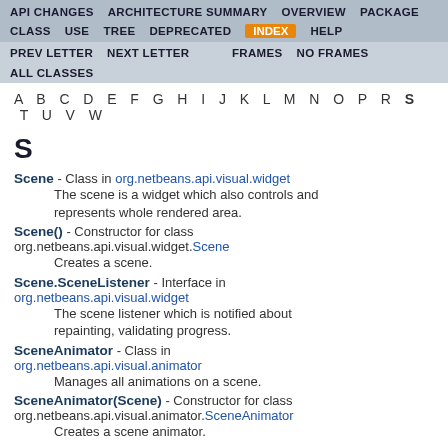API CHANGES  ARCHITECTURE SUMMARY  OVERVIEW  PACKAGE  CLASS  USE  TREE  DEPRECATED  INDEX  HELP  PREV LETTER  NEXT LETTER  FRAMES  NO FRAMES  ALL CLASSES
A B C D E F G H I J K L M N O P R S T U V W
S
Scene - Class in org.netbeans.api.visual.widget
    The scene is a widget which also controls and represents whole rendered area.
Scene() - Constructor for class org.netbeans.api.visual.widget.Scene
    Creates a scene.
Scene.SceneListener - Interface in org.netbeans.api.visual.widget
    The scene listener which is notified about repainting, validating progress.
SceneAnimator - Class in org.netbeans.api.visual.animator
    Manages all animations on a scene.
SceneAnimator(Scene) - Constructor for class org.netbeans.api.visual.animator.SceneAnimator
    Creates a scene animator.